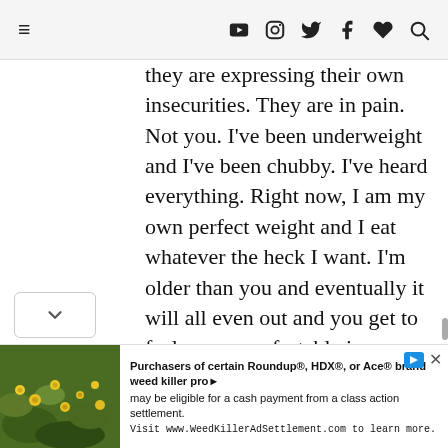≡  ▶ 📷 𝕏 f ♥ 🔍
they are expressing their own insecurities. They are in pain. Not you. I've been underweight and I've been chubby. I've heard everything. Right now, I am my own perfect weight and I eat whatever the heck I want. I'm older than you and eventually it will all even out and you get to feel more comfortable in your skin. I wish this for everyone.
Purchasers of certain Roundup®, HDX®, or Ace® brand weed killer products may be eligible for a cash payment from a class action settlement. Visit www.WeedKillerAdSettlement.com to learn more.